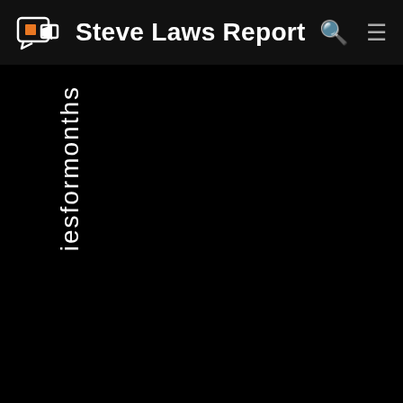Steve Laws Report
iesformonths